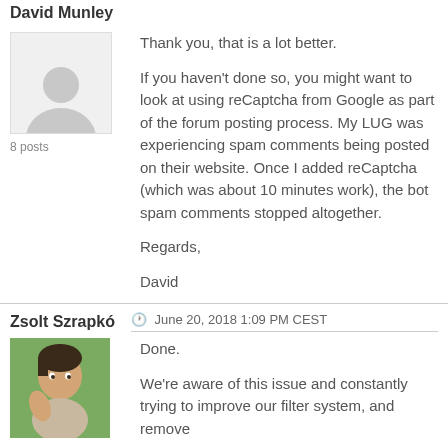David Munley
[Figure (photo): Grey silhouette avatar placeholder image]
8 posts
Thank you, that is a lot better.

If you haven't done so, you might want to look at using reCaptcha from Google as part of the forum posting process. My LUG was experiencing spam comments being posted on their website. Once I added reCaptcha (which was about 10 minutes work), the bot spam comments stopped altogether.

Regards,

David
Zsolt Szrapkó
June 20, 2018 1:09 PM CEST
[Figure (photo): Profile photo of Zsolt Szrapkó, a man with dark hair outdoors]
Done.

We're aware of this issue and constantly trying to improve our filter system, and remove